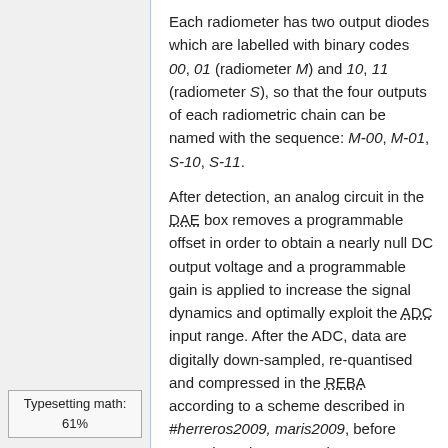Each radiometer has two output diodes which are labelled with binary codes 00, 01 (radiometer M) and 10, 11 (radiometer S), so that the four outputs of each radiometric chain can be named with the sequence: M-00, M-01, S-10, S-11.
After detection, an analog circuit in the DAE box removes a programmable offset in order to obtain a nearly null DC output voltage and a programmable gain is applied to increase the signal dynamics and optimally exploit the ADC input range. After the ADC, data are digitally down-sampled, re-quantised and compressed in the REBA according to a scheme described in #herreros2009, maris2009, before preparing telemetry packets. On ground, telemetry packets are converted to sky and reference load
Typesetting math: 61%